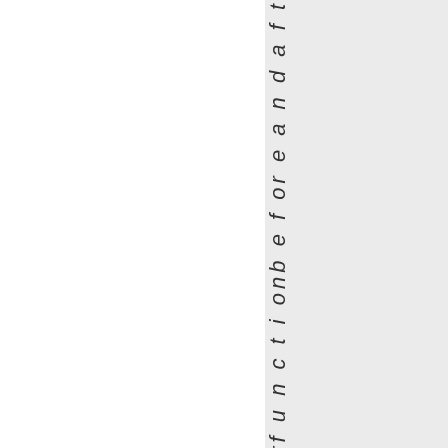t y of a j ob or f u n c t i on b e f or e a n d a f t